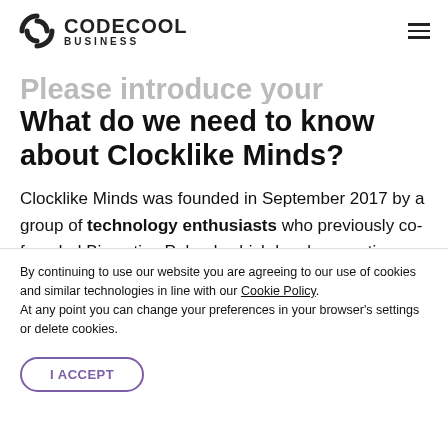CODECOOL BUSINESS
Please introduce your company. What do we need to know about Clocklike Minds?
Clocklike Minds was founded in September 2017 by a group of technology enthusiasts who previously co-founded Bizmatica Poland, which has been active on the Polish market since 2013. The acquisition of the Pega team and Bizmatica Poland
By continuing to use our website you are agreeing to our use of cookies and similar technologies in line with our Cookie Policy. At any point you can change your preferences in your browser's settings or delete cookies.
I ACCEPT